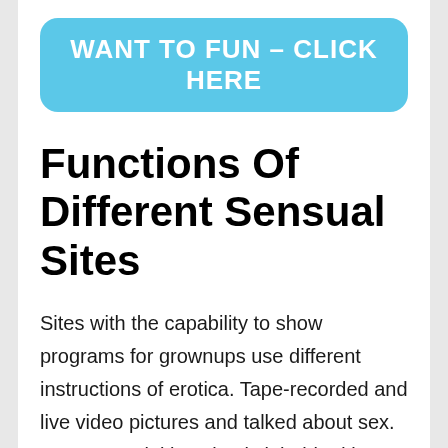[Figure (other): Blue rounded rectangle button with white bold text: WANT TO FUN – CLICK HERE]
Functions Of Different Sensual Sites
Sites with the capability to show programs for grownups use different instructions of erotica. Tape-recorded and live video pictures and talked about sex. Now a special location is inhabited by portals with the ability to relay erotic shows in real-time.